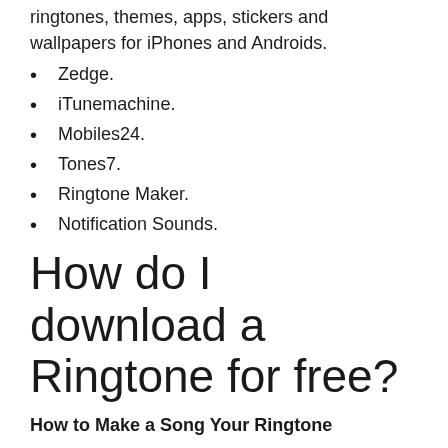ringtones, themes, apps, stickers and wallpapers for iPhones and Androids.
Zedge.
iTunemachine.
Mobiles24.
Tones7.
Ringtone Maker.
Notification Sounds.
How do I download a Ringtone for free?
How to Make a Song Your Ringtone
On your smartphone's home screen, tap Apps.
Tap Settings.
Tap Sounds and Notifications.